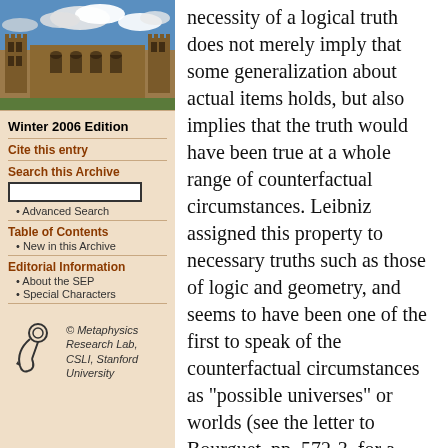[Figure (photo): Aerial/exterior view of a stone university building (likely Stanford or Oxford style) with gothic architecture, courtyard, and blue sky with clouds]
Winter 2006 Edition
Cite this entry
Search this Archive
Advanced Search
Table of Contents
New in this Archive
Editorial Information
About the SEP
Special Characters
[Figure (logo): Metaphysics Research Lab logo - stylized figure with circular element]
© Metaphysics Research Lab, CSLI, Stanford University
necessity of a logical truth does not merely imply that some generalization about actual items holds, but also implies that the truth would have been true at a whole range of counterfactual circumstances. Leibniz assigned this property to necessary truths such as those of logic and geometry, and seems to have been one of the first to speak of the counterfactual circumstances as "possible universes" or worlds (see the letter to Bourguet, pp. 572-3, for a crisp statement of his views that contrasts them with the views in the preceding paragraph; Knuuttila 1982, pp. 353 ff. detects the earliest